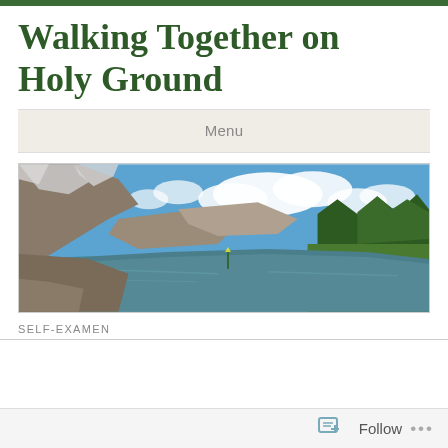Walking Together on Holy Ground
Menu
[Figure (photo): Panoramic landscape photo showing a mountain alpine lake with rocky slopes, snow patches, evergreen trees, green meadows, and a bright blue sky with white clouds reflected in calm water.]
SELF-EXAMEN
Follow   ...